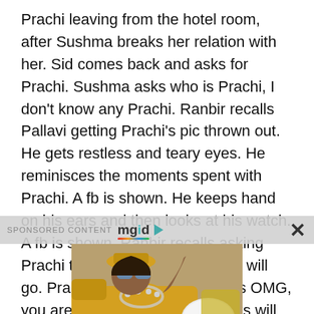Prachi leaving from the hotel room, after Sushma breaks her relation with her. Sid comes back and asks for Prachi. Sushma asks who is Prachi, I don't know any Prachi. Ranbir recalls Pallavi getting Prachi's pic thrown out. He gets restless and teary eyes. He reminisces the moments spent with Prachi. A fb is shown. He keeps hand on his ears and then looks at his watch. A fb is shown. Ranbir recalls asking Prachi to come, and says baraat will go. Prachi comes ready. He says OMG, you are looking so good and asks will you
[Figure (screenshot): Sponsored content bar with MGID logo and close X button, followed by an advertisement image of a woman in yellow outfit with sunglasses lying down, with caption 'This Look Is A Two-in-one That You Won't Forget']
This Look Is A Two-in-one That You Won't Forget